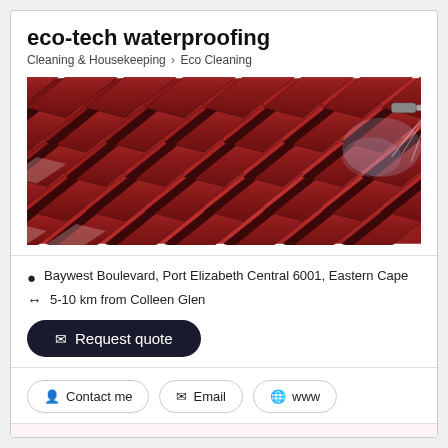eco-tech waterproofing
Cleaning & Housekeeping > Eco Cleaning
[Figure (photo): Red clay roof tiles being spray-cleaned with a pressure washer from the upper right corner]
Baywest Boulevard, Port Elizabeth Central 6001, Eastern Cape
5-10 km from Colleen Glen
✉ Request quote
👤 Contact me   ✉ Email   🌐 www
We rubberize just about anything. Professional waterproofing that lasts. Read...